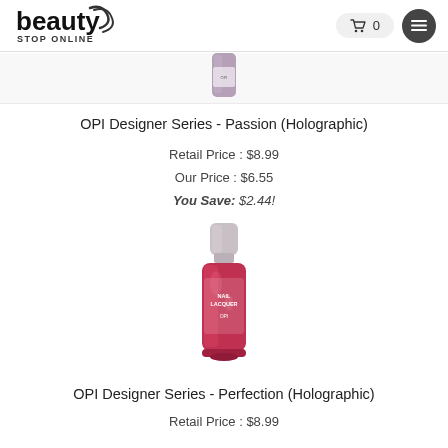[Figure (logo): Beauty Stop Online logo with stylized text and swoosh lines]
[Figure (photo): Partial view of OPI nail polish bottle (Passion Holographic) - mauve/purple color, bottom portion visible]
OPI Designer Series - Passion (Holographic)
Retail Price : $8.99
Our Price : $6.55
You Save: $2.44!
[Figure (photo): OPI nail polish bottle - Perfection Holographic - red/cranberry shimmer color with silver cap]
OPI Designer Series - Perfection (Holographic)
Retail Price : $8.99